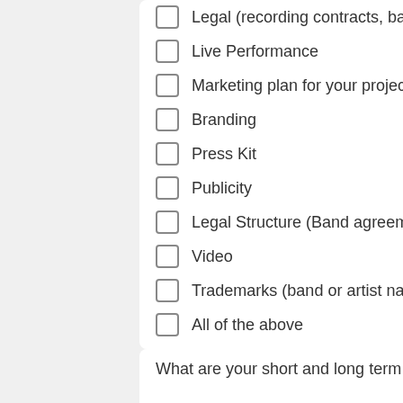Legal (recording contracts, band ag...
Live Performance
Marketing plan for your project
Branding
Press Kit
Publicity
Legal Structure (Band agreements,...
Video
Trademarks (band or artist name /...
All of the above
What are your short and long term go...